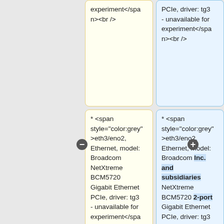experiment</span><br />
PCIe, driver: tg3 - unavailable for experiment</span><br />
* <span style="color:grey">eth3/eno2, Ethernet, model: Broadcom NetXtreme BCM5720 Gigabit Ethernet PCIe, driver: tg3 - unavailable for experiment</span><br />
* <span style="color:grey">eth3/eno2, Ethernet, model: Broadcom Inc. and subsidiaries NetXtreme BCM5720 2-port Gigabit Ethernet PCIe, driver: tg3 - unavailable for experiment</span><br />
* <span style="color:grey">eth4/eno3, Ethernet, model:
* <span style="color:grey">eth4/eno3, Ethernet, model: